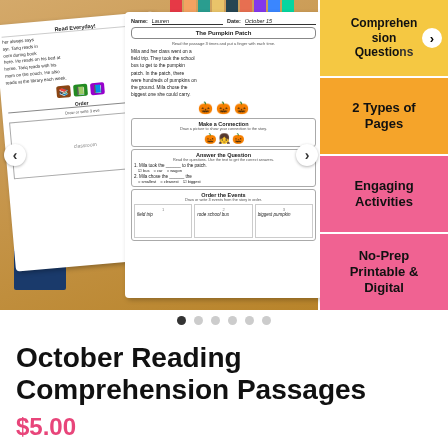[Figure (photo): Product listing image showing October Reading Comprehension Passages worksheets on a wooden desk with crayons. Right side shows feature labels on yellow/orange/pink panels: Comprehension Questions, 2 Types of Pages, Engaging Activities, No-Prep Printable & Digital. Navigation arrows and dot indicators for image carousel are visible.]
October Reading Comprehension Passages
$5.00